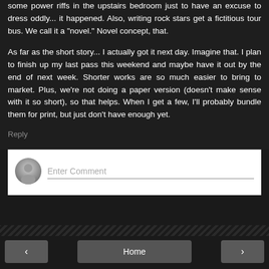some power riffs in the upstairs bedroom just to have an excuse to dress oddly... it happened. Also, writing rock stars get a fictitious tour bus. We call it a "novel." Novel concept, that.
As far as the short story... I actually got it next day. Imagine that. I plan to finish up my last pass this weekend and maybe have it out by the end of next week. Shorter works are so much easier to bring to market. Plus, we're not doing a paper version (doesn't make sense with it so short), so that helps. When I get a few, I'll probably bundle them for print, but just don't have enough yet.
Reply
Enter Comment
< Home >